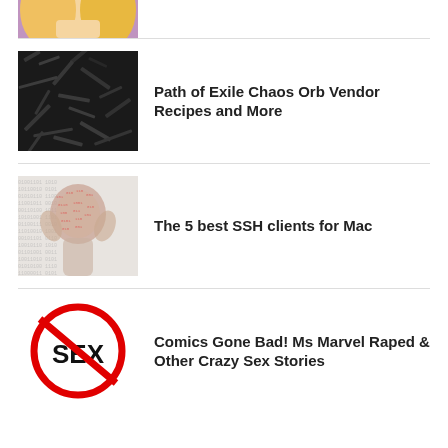[Figure (photo): Partial top image of a blonde woman with comic/illustration style]
[Figure (photo): Dark shredded material, feathers or film strips]
Path of Exile Chaos Orb Vendor Recipes and More
[Figure (photo): Person's face overlaid with matrix-style code/numbers]
The 5 best SSH clients for Mac
[Figure (illustration): No-sex prohibition sign with SEX text crossed out in red circle]
Comics Gone Bad! Ms Marvel Raped & Other Crazy Sex Stories